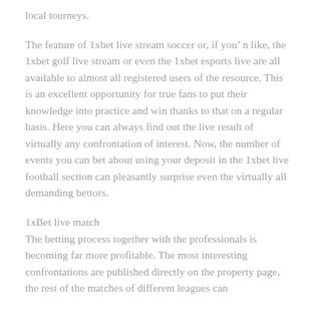local tourneys.
The feature of 1xbet live stream soccer or, if you’ n like, the 1xbet golf live stream or even the 1xbet esports live are all available to almost all registered users of the resource. This is an excellent opportunity for true fans to put their knowledge into practice and win thanks to that on a regular basis. Here you can always find out the live result of virtually any confrontation of interest. Now, the number of events you can bet about using your deposit in the 1xbet live football section can pleasantly surprise even the virtually all demanding bettors.
1xBet live match
The betting process together with the professionals is becoming far more profitable. The most interesting confrontations are published directly on the property page, the rest of the matches of different leagues can